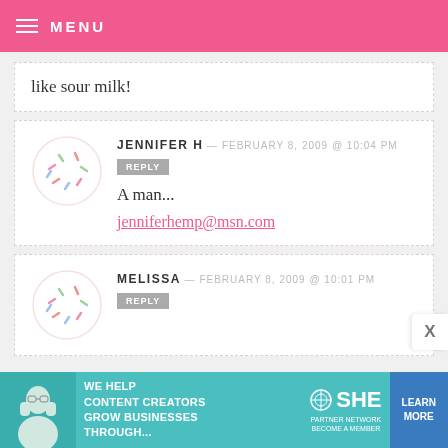MENU
like sour milk!
JENNIFER H — FEBRUARY 8, 2009 @ 10:04 PM
REPLY
A man...
jenniferhemp@msn.com
MELISSA — FEBRUARY 8, 2009 @ 10:01 PM
REPLY
[Figure (infographic): SHE Partner Network advertisement banner: We help content creators grow businesses through... with a Learn More button]